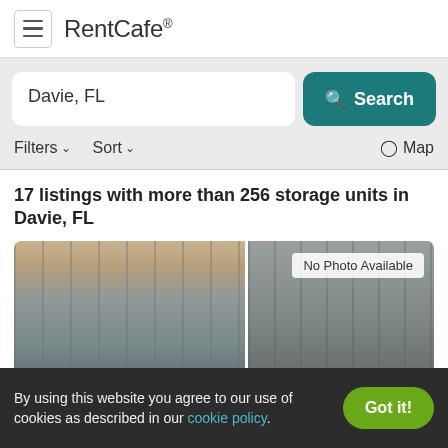RentCafe
Davie, FL
Search
Filters  Sort  Map
17 listings with more than 256 storage units in Davie, FL
[Figure (photo): Storage unit facility hallway on the left, and a second storage facility image on the right with a 'No Photo Available' badge.]
By using this website you agree to our use of cookies as described in our cookie policy.